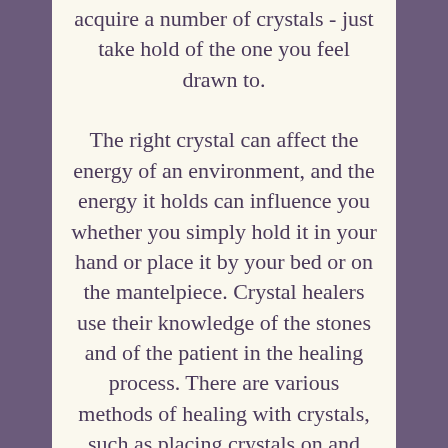acquire a number of crystals - just take hold of the one you feel drawn to. The right crystal can affect the energy of an environment, and the energy it holds can influence you whether you simply hold it in your hand or place it by your bed or on the mantelpiece. Crystal healers use their knowledge of the stones and of the patient in the healing process. There are various methods of healing with crystals, such as placing crystals on and around a person while they are lying down, or using a wand or point to focus love,